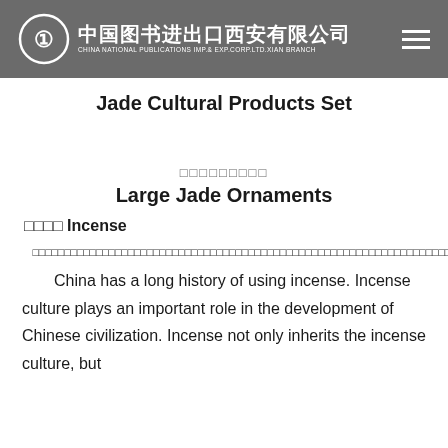中国图书进出口西安有限公司 CHINA NATIONAL PUBLICATIONS IMP.& EXP.CORP.LTD.XIAN BRANCH
Jade Cultural Products Set
□□□□□□□□□
Large Jade Ornaments
□□□□ Incense
□□□□□□□□□□□□□□□□□□□□□□□□□□□□□□□□□□□□□□□□□□□□□□□□□□□□□□□□□□□□□□□□□□□□□□□□□□□□□□□□□□□□□□□□□□□□□□□□□□□□□□□□□□□□□□□□□□□□□□□□□□□□□□□□□□□□□□□□□□□□□□□□□□□□□□□□□□□□□□□□□□□□□□□□□□□□□□□□□□□□□□□□□□□□□□□□
China has a long history of using incense. Incense culture plays an important role in the development of Chinese civilization. Incense not only inherits the incense culture, but